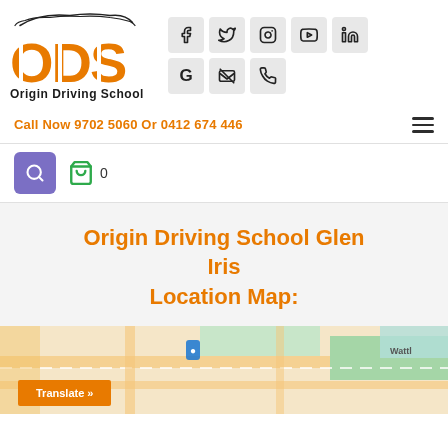[Figure (logo): Origin Driving School (ODS) logo with orange ODS letters, car silhouette above, and social media icons grid (Facebook, Twitter, Instagram, YouTube, LinkedIn, Google, Email, Phone)]
Call Now 9702 5060 Or 0412 674 446
Origin Driving School Glen Iris Location Map:
[Figure (map): Partial Google Maps view showing Glen Iris location with street map tiles. Translate button visible at bottom left. 'Wattle' text visible at right edge.]